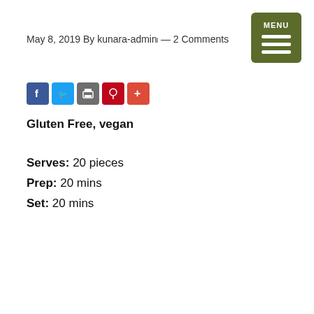MENU
May 8, 2019 By kunara-admin — 2 Comments
[Figure (infographic): Social sharing icons: Facebook (blue), Twitter (blue), Print (grey), Pinterest (red), Plus/share (red-orange)]
Gluten Free, vegan
Serves: 20 pieces
Prep: 20 mins
Set: 20 mins